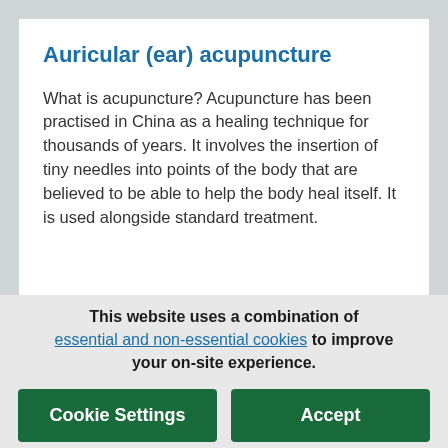Auricular (ear) acupuncture
What is acupuncture? Acupuncture has been practised in China as a healing technique for thousands of years. It involves the insertion of tiny needles into points of the body that are believed to be able to help the body heal itself. It is used alongside standard treatment.
This website uses a combination of essential and non-essential cookies to improve your on-site experience.
Cookie Settings
Accept